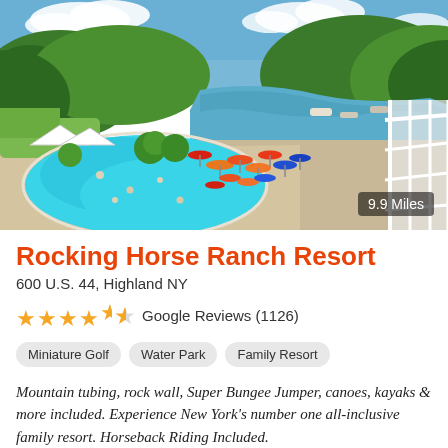[Figure (photo): Aerial view of Rocking Horse Ranch Resort showing a large outdoor swimming pool with blue water and swimmers, colorful orange and red umbrellas on the pool deck, a river or lake in the background surrounded by green forested hills, and a white railing structure on the right side. Clear blue sky with white clouds above.]
Rocking Horse Ranch Resort
600 U.S. 44, Highland NY
★★★★☆ Google Reviews (1126)
Miniature Golf   Water Park   Family Resort
Mountain tubing, rock wall, Super Bungee Jumper, canoes, kayaks & more included. Experience New York's number one all-inclusive family resort. Horseback Riding Included.